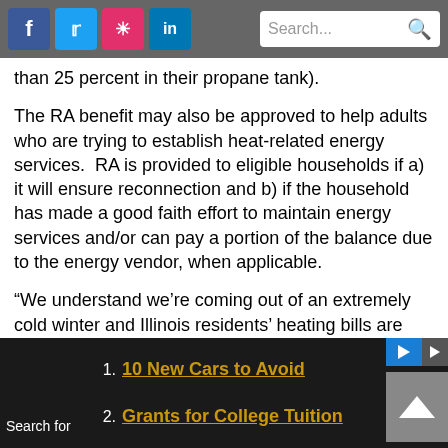Social media icons (Facebook, Twitter, Instagram, LinkedIn) and Search bar
than 25 percent in their propane tank).
The RA benefit may also be approved to help adults who are trying to establish heat-related energy services.  RA is provided to eligible households if a) it will ensure reconnection and b) if the household has made a good faith effort to maintain energy services and/or can pay a portion of the balance due to the energy vendor, when applicable.
“We understand we’re coming out of an extremely cold winter and Illinois residents’ heating bills are probably higher than they anticipated,” said
Search for
1. 10 New Cars to Avoid
2. Grants for College Tuition